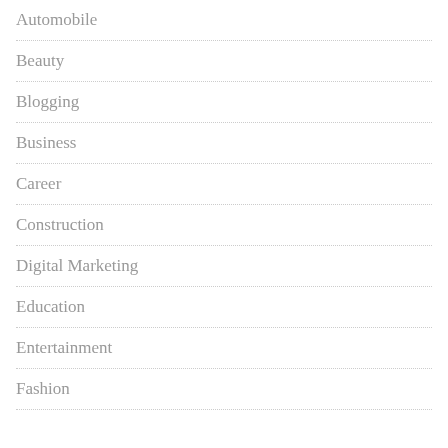Automobile
Beauty
Blogging
Business
Career
Construction
Digital Marketing
Education
Entertainment
Fashion